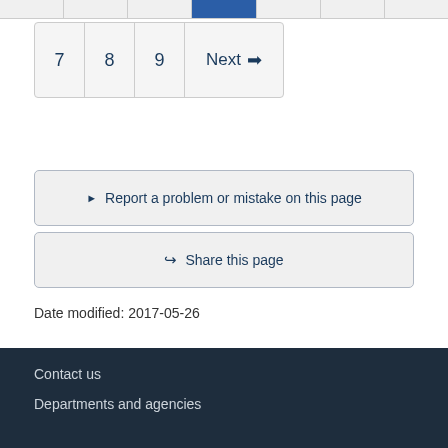[Figure (other): Partial top row of a pagination or table strip with a blue highlighted cell]
[Figure (other): Pagination navigation with page numbers 7, 8, 9 and a Next arrow button]
▶ Report a problem or mistake on this page
↪ Share this page
Date modified: 2017-05-26
Contact us
Departments and agencies